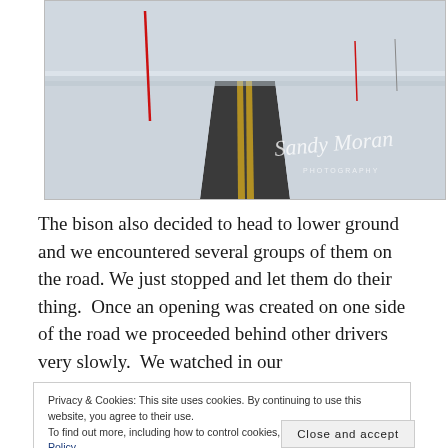[Figure (photo): A snowy road with yellow center lines stretching into the distance, surrounded by snow-covered landscape. A red marker pole is visible on the left. A watermark reads 'Sandy Moran Photography'.]
The bison also decided to head to lower ground and we encountered several groups of them on the road. We just stopped and let them do their thing.  Once an opening was created on one side of the road we proceeded behind other drivers very slowly.  We watched in our
Privacy & Cookies: This site uses cookies. By continuing to use this website, you agree to their use.
To find out more, including how to control cookies, see here: Our Cookie Policy
Close and accept
[Figure (photo): Close-up of a bison's fur, tan/brown colored, partially visible at the bottom of the page.]